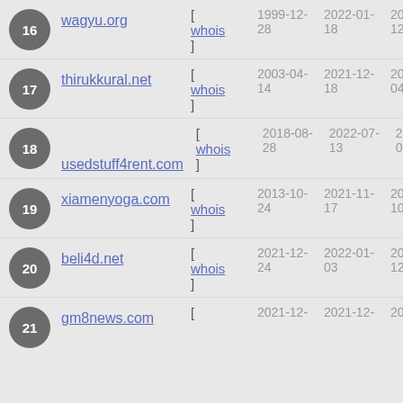16 wagyu.org [ whois ] 1999-12-28 2022-01-18 20 12
17 thirukkural.net [ whois ] 2003-04-14 2021-12-18 20 04
18 usedstuff4rent.com [ whois ] 2018-08-28 2022-07-13 20 08
19 xiamenyoga.com [ whois ] 2013-10-24 2021-11-17 20 10
20 beli4d.net [ whois ] 2021-12-24 2022-01-03 20 12
21 gm8news.com [ whois ] 2021-12- 2021-12- 20